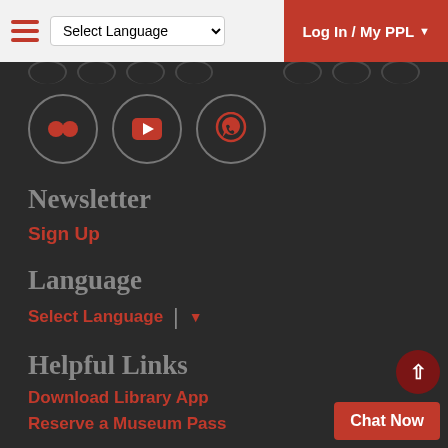Select Language | Log In / My PPL
[Figure (other): Social media icons: Flickr, YouTube, WhatsApp — circular outlined icons on dark background]
Newsletter
Sign Up
Language
Select Language
Helpful Links
Download Library App
Reserve a Museum Pass
Chat Now